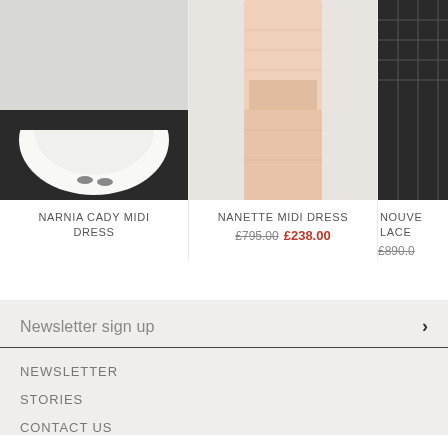[Figure (photo): Fashion model photo - bottom of white dress with shoes on black floor, NARNIA CADY MIDI DRESS]
NARNIA CADY MIDI DRESS
[Figure (photo): Fashion model photo - pink/peach patterned midi dress, NANETTE MIDI DRESS]
NANETTE MIDI DRESS
£795.00  £238.00
[Figure (photo): Partial fashion model photo - dark lace dress, cropped, NOUVEAU LACE (partial)]
NOUVE... LACE...
£890.0...
Newsletter sign up
NEWSLETTER
STORIES
CONTACT US